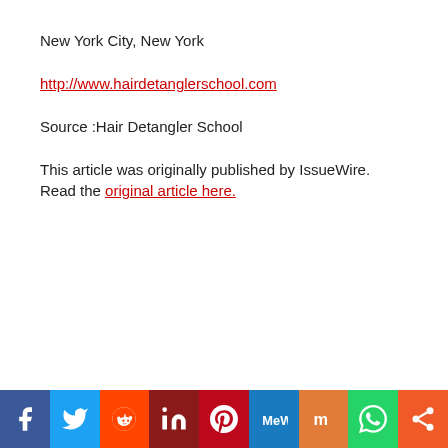New York City, New York
http://www.hairdetanglerschool.com
Source :Hair Detangler School
This article was originally published by IssueWire. Read the original article here.
[Figure (infographic): Social media share buttons bar: Facebook, Twitter, Reddit, LinkedIn, Pinterest, MeWe, Mix, WhatsApp, Share]